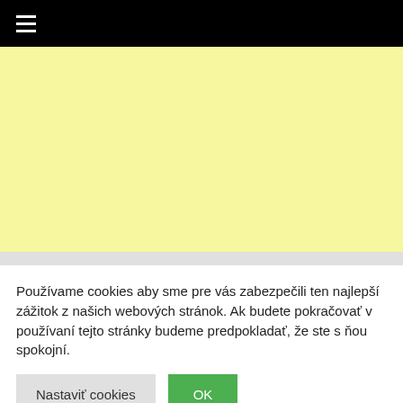[Figure (screenshot): Black navigation bar with white hamburger menu icon (three horizontal lines) on the left]
[Figure (other): Large light yellow advertisement placeholder area]
Používame cookies aby sme pre vás zabezpečili ten najlepší zážitok z našich webových stránok. Ak budete pokračovať v používaní tejto stránky budeme predpokladať, že ste s ňou spokojní.
Nastaviť cookies | OK